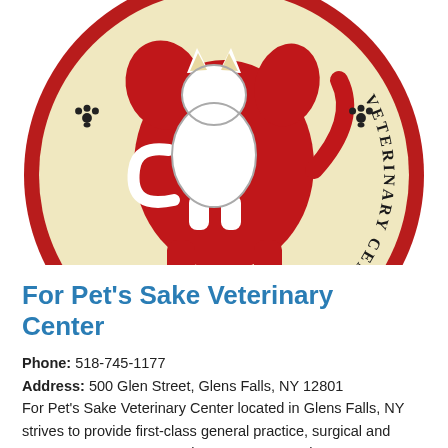[Figure (logo): For Pet's Sake Veterinary Center PC circular logo with cream/yellow background, red cross/dog silhouette in center, white cat silhouette, text around border, paw prints, red outer ring]
For Pet's Sake Veterinary Center
Phone: 518-745-1177
Address: 500 Glen Street, Glens Falls, NY 12801
For Pet's Sake Veterinary Center located in Glens Falls, NY strives to provide first-class general practice, surgical and emergency care to our patients. For Pet's Sake